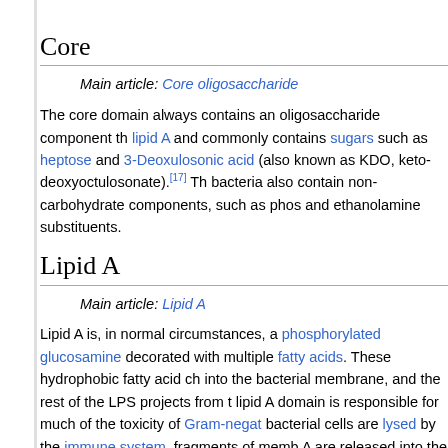… (truncated top text)
Core
Main article: Core oligosaccharide
The core domain always contains an oligosaccharide component that is attached to lipid A and commonly contains sugars such as heptose and 3-Deoxyoctulosonic acid (also known as KDO, keto-deoxyoctulosonate).[17] The bacteria also contain non-carbohydrate components, such as phosphate and ethanolamine substituents.
Lipid A
Main article: Lipid A
Lipid A is, in normal circumstances, a phosphorylated glucosamine decorated with multiple fatty acids. These hydrophobic fatty acid chains anchor into the bacterial membrane, and the rest of the LPS projects from the lipid A domain is responsible for much of the toxicity of Gram-negative bacteria. When bacterial cells are lysed by the immune system, fragments of membrane containing lipid A are released into the circulation, causing fever, diarrhea, and possibly septic shock (also called septic shock). The Lipid A moiety is a very conse…